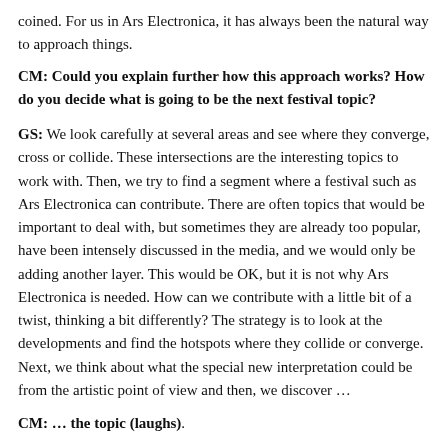coined. For us in Ars Electronica, it has always been the natural way to approach things.
CM: Could you explain further how this approach works? How do you decide what is going to be the next festival topic?
GS: We look carefully at several areas and see where they converge, cross or collide. These intersections are the interesting topics to work with. Then, we try to find a segment where a festival such as Ars Electronica can contribute. There are often topics that would be important to deal with, but sometimes they are already too popular, have been intensely discussed in the media, and we would only be adding another layer. This would be OK, but it is not why Ars Electronica is needed. How can we contribute with a little bit of a twist, thinking a bit differently? The strategy is to look at the developments and find the hotspots where they collide or converge. Next, we think about what the special new interpretation could be from the artistic point of view and then, we discover …
CM: … the topic (laughs).